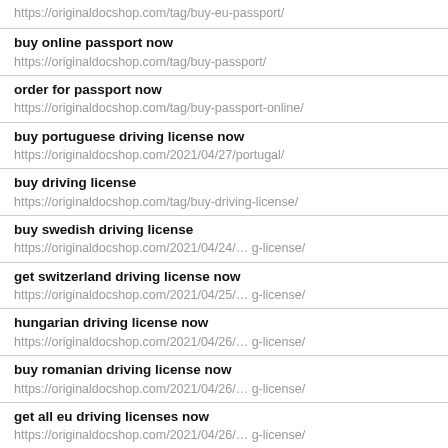https://originaldocshop.com/tag/buy-eu-passport/
buy online passport now
https://originaldocshop.com/tag/buy-passport/
order for passport now
https://originaldocshop.com/tag/buy-passport-online/
buy portuguese driving license now
https://originaldocshop.com/2021/04/27/portugal/
buy driving license
https://originaldocshop.com/tag/buy-driving-license/
buy swedish driving license
https://originaldocshop.com/2021/04/24/… g-license/
get switzerland driving license now
https://originaldocshop.com/2021/04/25/… g-license/
hungarian driving license now
https://originaldocshop.com/2021/04/26/… g-license/
buy romanian driving license now
https://originaldocshop.com/2021/04/26/… g-license/
get all eu driving licenses now
https://originaldocshop.com/2021/04/26/… g-license/